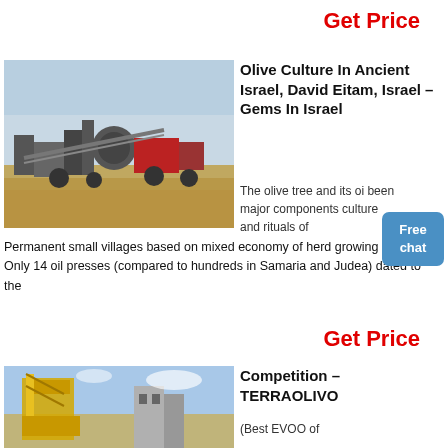Get Price
[Figure (photo): Industrial mining/quarry site with machinery, conveyor belts, and heavy equipment on sandy ground with blue sky]
Olive Culture In Ancient Israel, David Eitam, Israel – Gems In Israel
The olive tree and its oi been major components culture and rituals of
[Figure (infographic): Free chat button overlay - blue rounded rectangle with 'Free chat' text]
Permanent small villages based on mixed economy of herd growing and Only 14 oil presses (compared to hundreds in Samaria and Judea) dated to the
Get Price
[Figure (photo): Construction site with yellow crane equipment against blue sky background]
Competition – TERRAOLIVO
(Best EVOO of